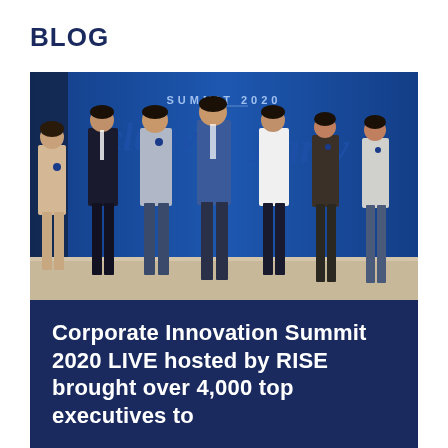BLOG
[Figure (photo): Group photo of seven people (four men and three women) standing in front of a large blue LED screen displaying 'SUMMIT 2020' and 'Exclusive Party' text at a corporate innovation event.]
Corporate Innovation Summit 2020 LIVE hosted by RISE brought over 4,000 top executives to